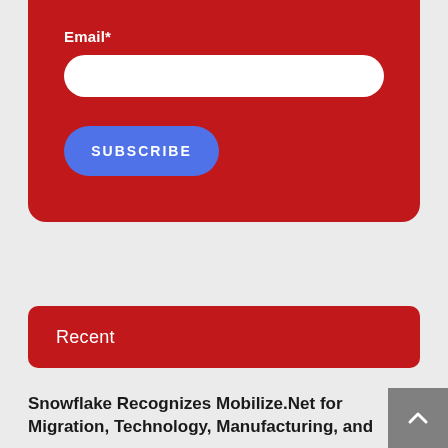Email*
[Figure (screenshot): White rounded rectangle input field for email]
[Figure (screenshot): Blue rounded rectangle SUBSCRIBE button]
Recent
Snowflake Recognizes Mobilize.Net for Migration, Technology, Manufacturing, and